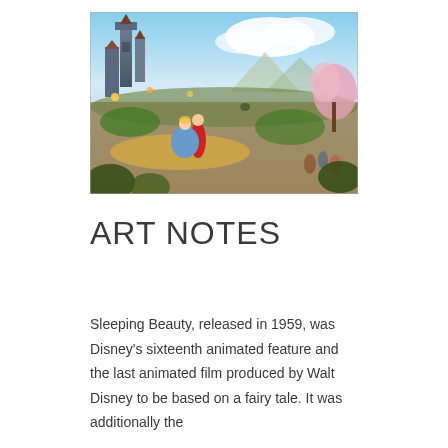[Figure (illustration): A fantastical illustrated painting depicting Sleeping Beauty (Aurora in a blue dress) dancing with Prince Phillip in red, set against an elaborate backdrop with a grand castle, glowing gardens, distant landscapes, and cherry blossom trees — in Thomas Kinkade's luminous style.]
ART NOTES
Sleeping Beauty, released in 1959, was Disney's sixteenth animated feature and the last animated film produced by Walt Disney to be based on a fairy tale. It was additionally the